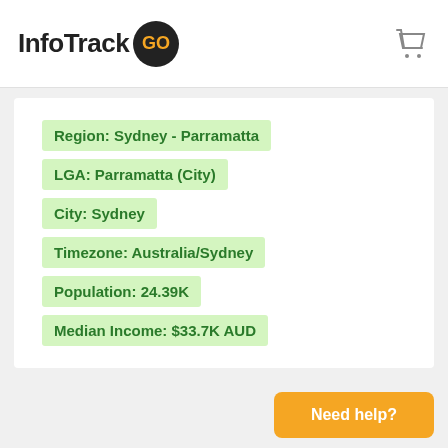InfoTrack GO
Region: Sydney - Parramatta
LGA: Parramatta (City)
City: Sydney
Timezone: Australia/Sydney
Population: 24.39K
Median Income: $33.7K AUD
Need help?